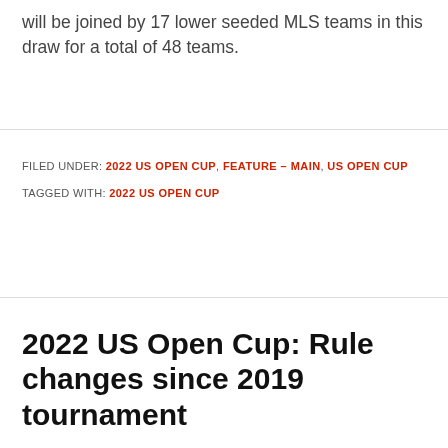will be joined by 17 lower seeded MLS teams in this draw for a total of 48 teams.
FILED UNDER: 2022 US OPEN CUP, FEATURE - MAIN, US OPEN CUP
TAGGED WITH: 2022 US OPEN CUP
2022 US Open Cup: Rule changes since 2019 tournament
FEBRUARY 5, 2022 BY JAKE SILLICK
[Figure (photo): Stadium scoreboard showing '2019 Lamar Hunt U.S. Open Cup Final' banner in red and blue, with dark interior lighting and crowd in background.]